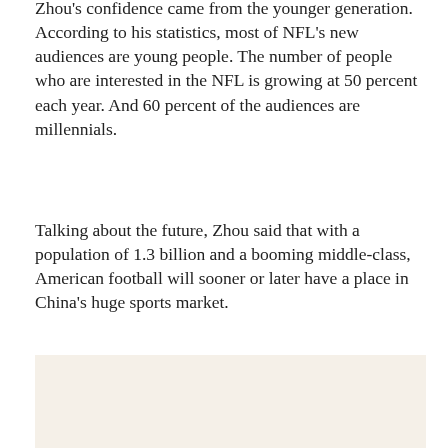Zhou's confidence came from the younger generation. According to his statistics, most of NFL's new audiences are young people. The number of people who are interested in the NFL is growing at 50 percent each year. And 60 percent of the audiences are millennials.
Talking about the future, Zhou said that with a population of 1.3 billion and a booming middle-class, American football will sooner or later have a place in China's huge sports market.
[Figure (photo): A light beige/cream colored image placeholder rectangle at the bottom of the page.]